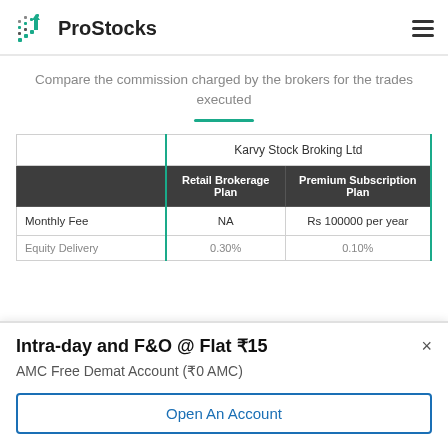ProStocks
Compare the commission charged by the brokers for the trades executed
|  | Retail Brokerage Plan | Premium Subscription Plan |
| --- | --- | --- |
| Monthly Fee | NA | Rs 100000 per year |
| Equity Delivery | 0.30% | 0.10% |
Intra-day and F&O @ Flat ₹15
AMC Free Demat Account (₹0 AMC)
Open An Account